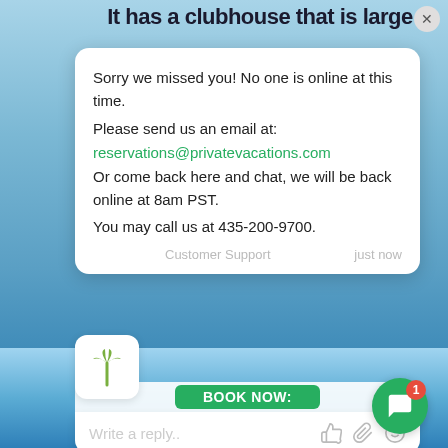[Figure (screenshot): Background image of a resort with palm trees, blue sky, and a swimming pool]
It has a clubhouse that is large enough for large parties.
Sorry we missed you! No one is online at this time.
Please send us an email at:
reservations@privatevacations.com
Or come back here and chat, we will be back online at 8am PST.
You may call us at 435-200-9700.
Customer Support    just now
Write a reply..